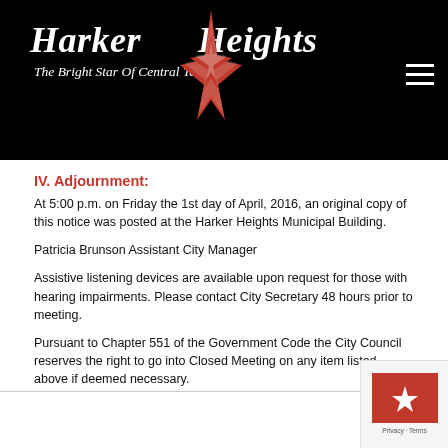Harker Heights – The Bright Star Of Central Texas
IV. Adjournment:
At 5:00 p.m. on Friday the 1st day of April, 2016, an original copy of this notice was posted at the Harker Heights Municipal Building.
Patricia Brunson Assistant City Manager
Assistive listening devices are available upon request for those with hearing impairments. Please contact City Secretary 48 hours prior to meeting.
Pursuant to Chapter 551 of the Government Code the City Council reserves the right to go into Closed Meeting on any item listed above if deemed necessary.